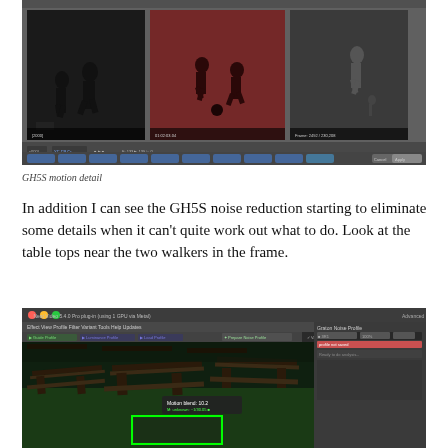[Figure (screenshot): Video editing software showing three panels of security/surveillance footage: left panel black and white showing two silhouette figures walking, center panel reddish-tinted showing children playing, right panel grey showing a figure walking. Below the panels are timeline controls and buttons. Cancel button visible at bottom right.]
GH5S motion detail
In addition I can see the GH5S noise reduction starting to eliminate some details when it can't quite work out what to do. Look at the table tops near the two walkers in the frame.
[Figure (screenshot): Neat Video noise reduction plugin interface showing a dark outdoor scene with wooden picnic tables on a green lawn. There is a green rectangle selection box overlay in the lower center of the image. A tooltip shows 'Motion Blend: 10.2' and 'Mix: unknown ~1/30.0s'. The interface shows menus: Effect, View, Profile, Filter, Variant, Tools, Help, Updates and Advanced Mode on the right side. A panel labeled 'Graton Noise Profile' is visible on the right.]